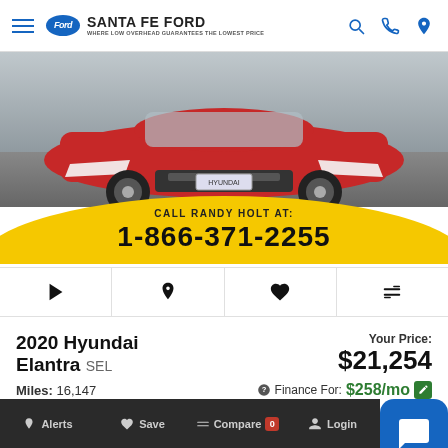Santa Fe Ford - WHERE LOW OVERHEAD GUARANTEES THE LOWEST PRICE
[Figure (photo): Front view of a red 2020 Hyundai Elantra SEL on a gray surface]
CALL RANDY HOLT AT: 1-866-371-2255
2020 Hyundai Elantra SEL
Miles: 16,147
Your Price: $21,254
Finance For: $258/mo
Alerts  Save  Compare 0  Login